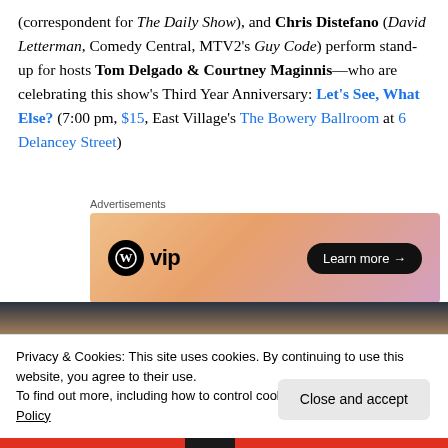(correspondent for The Daily Show), and Chris Distefano (David Letterman, Comedy Central, MTV2's Guy Code) perform stand-up for hosts Tom Delgado & Courtney Maginnis—who are celebrating this show's Third Year Anniversary: Let's See, What Else? (7:00 pm, $15, East Village's The Bowery Ballroom at 6 Delancey Street)
Advertisements
[Figure (other): WordPress VIP advertisement banner with orange/pink gradient background and 'Learn more →' button]
[Figure (photo): Partial photo of a person with blonde hair against dark background]
Privacy & Cookies: This site uses cookies. By continuing to use this website, you agree to their use.
To find out more, including how to control cookies, see here: Cookie Policy
Close and accept